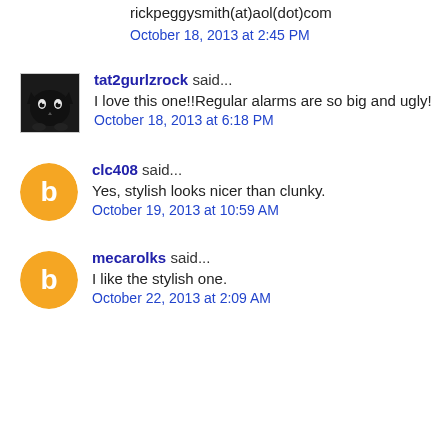rickpeggysmith(at)aol(dot)com
October 18, 2013 at 2:45 PM
tat2gurlzrock said...
I love this one!!Regular alarms are so big and ugly!
October 18, 2013 at 6:18 PM
clc408 said...
Yes, stylish looks nicer than clunky.
October 19, 2013 at 10:59 AM
mecarolks said...
I like the stylish one.
October 22, 2013 at 2:09 AM